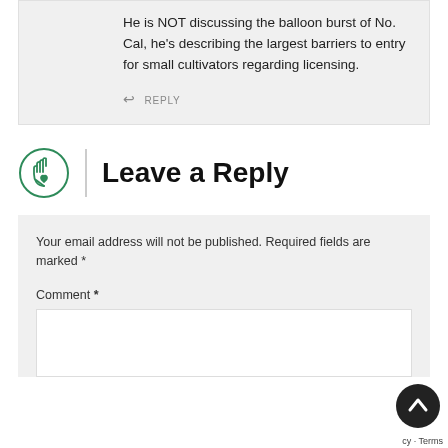He is NOT discussing the balloon burst of No. Cal, he's describing the largest barriers to entry for small cultivators regarding licensing.
↩ REPLY
Leave a Reply
Your email address will not be published. Required fields are marked *
Comment *
[Figure (illustration): Scroll to top button - dark circle with upward chevron arrow]
cy · Terms